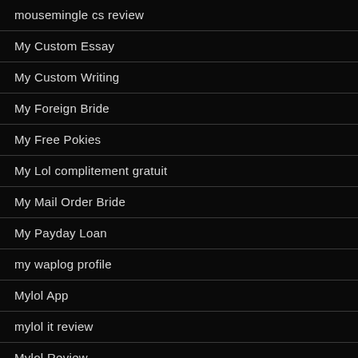mousemingle cs review
My Custom Essay
My Custom Writing
My Foreign Bride
My Free Pokies
My Lol complitement gratuit
My Mail Order Bride
My Payday Loan
my waplog profile
Mylol App
mylol it review
Mylol Review
Mypaperwriter